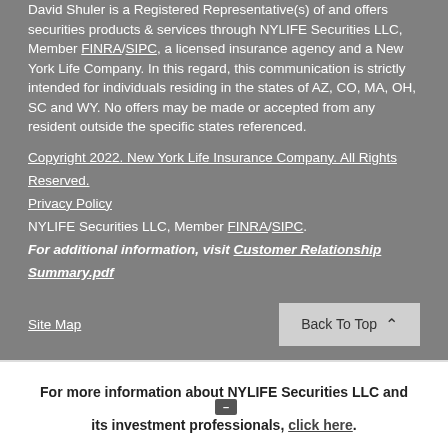David Shuler is a Registered Representative(s) of and offers securities products & services through NYLIFE Securities LLC, Member FINRA/SIPC, a licensed insurance agency and a New York Life Company. In this regard, this communication is strictly intended for individuals residing in the states of AZ, CO, MA, OH, SC and WY. No offers may be made or accepted from any resident outside the specific states referenced.
Copyright 2022. New York Life Insurance Company. All Rights Reserved.
Privacy Policy
NYLIFE Securities LLC, Member FINRA/SIPC.
For additional information, visit Customer Relationship Summary.pdf
Site Map
Back To Top
For more information about NYLIFE Securities LLC and its investment professionals, click here.